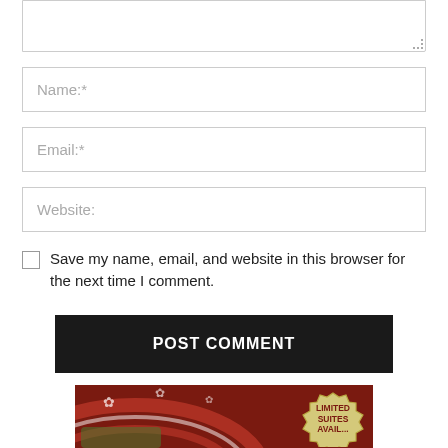[Figure (screenshot): Textarea input box (comment form field), partially visible at top of page]
Name:*
Email:*
Website:
Save my name, email, and website in this browser for the next time I comment.
POST COMMENT
[Figure (illustration): Partial advertisement image with dark red background, decorative arcs and maple leaf motifs, and a scalloped badge reading LIMITED SUITES AVAIL...]